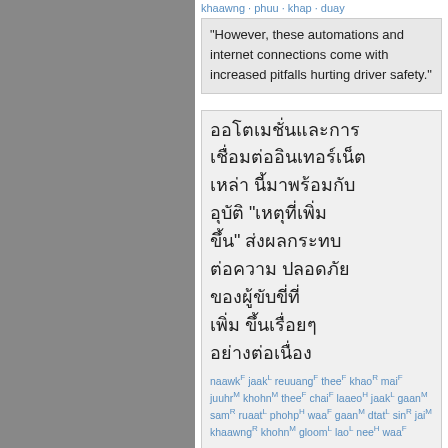"However, these automations and internet connections come with increased pitfalls hurting driver safety."
Thai text block (untransliterated Thai script paragraph)
naawkF jaakL reuuangF theeF khaoR maiF juuhrM khohnM theeF chaiF laaeoH jaakL gaanM samR ruaatL phohpH waaF gaanM dtatL sinR jaiM khaawngR khohnM gloomL laoL neeH waaF